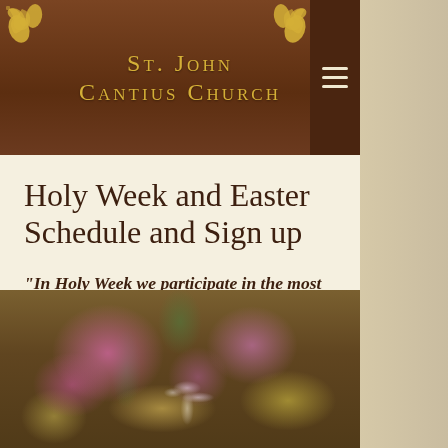St. John Cantius Church
Holy Week and Easter Schedule and Sign up
“In Holy Week we participate in the most sublime drama of religious history.” —Fr. Pius Parsch
[Figure (photo): Blurred photograph of colorful flowers, likely liturgical floral arrangement with pink and yellow blooms]